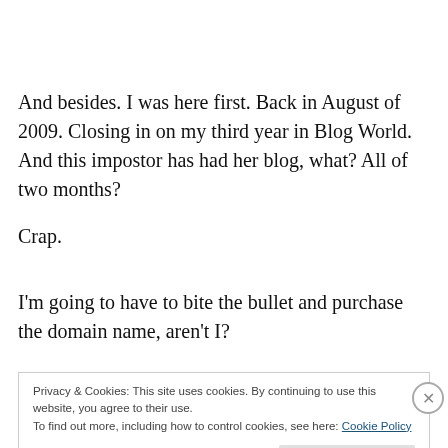And besides. I was here first. Back in August of 2009. Closing in on my third year in Blog World. And this impostor has had her blog, what? All of two months?
Crap.
I'm going to have to bite the bullet and purchase the domain name, aren't I?
Privacy & Cookies: This site uses cookies. By continuing to use this website, you agree to their use. To find out more, including how to control cookies, see here: Cookie Policy